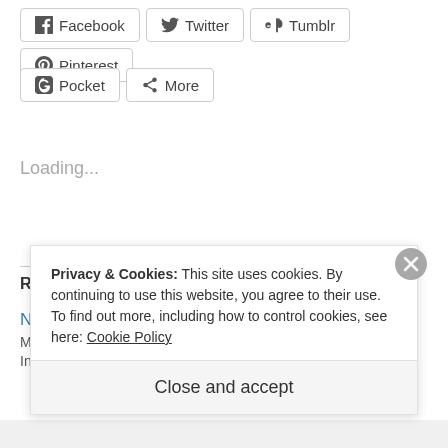[Figure (screenshot): Social sharing buttons row 1: Facebook, Twitter, Tumblr, Pinterest]
[Figure (screenshot): Social sharing buttons row 2: Pocket, More]
Loading...
Related
Neighbors
May 8, 2014
In "(3.5) It's Good"
This Is the End
June 6, 2013
In "(4.5) Really, really good"
Privacy & Cookies: This site uses cookies. By continuing to use this website, you agree to their use.
To find out more, including how to control cookies, see here: Cookie Policy
Close and accept